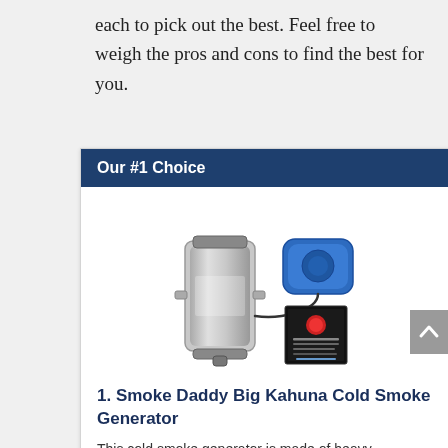each to pick out the best. Feel free to weigh the pros and cons to find the best for you.
Our #1 Choice
[Figure (photo): Photo of Smoke Daddy Big Kahuna Cold Smoke Generator product kit — cylindrical stainless steel canister with attached fittings, a blue air pump, and a product manual booklet.]
1. Smoke Daddy Big Kahuna Cold Smoke Generator
This cold smoke generator is made of heavy-